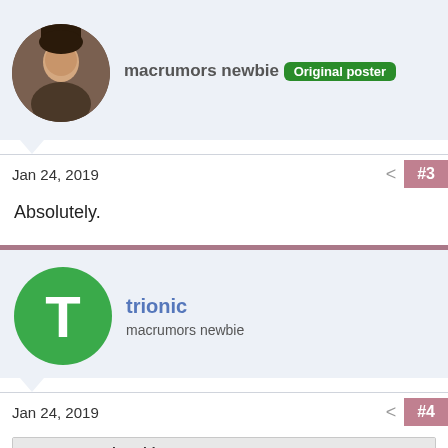macrumors newbie  Original poster
Jan 24, 2019  #3
Absolutely.
trionic
macrumors newbie
Jan 24, 2019  #4
Newtons Apple said: ↩
Does this issue cause a problem?
Are you serious? Just imagine,